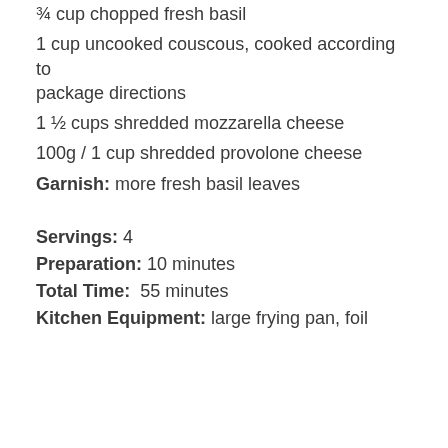¾ cup chopped fresh basil
1 cup uncooked couscous, cooked according to package directions
1 ½ cups shredded mozzarella cheese
100g / 1 cup shredded provolone cheese
Garnish: more fresh basil leaves
Servings: 4
Preparation: 10 minutes
Total Time: 55 minutes
Kitchen Equipment: large frying pan, foil